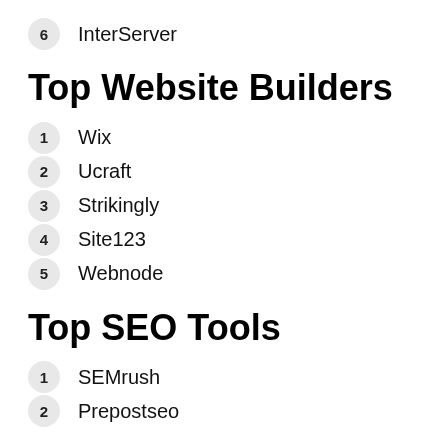6  InterServer
Top Website Builders
1  Wix
2  Ucraft
3  Strikingly
4  Site123
5  Webnode
Top SEO Tools
1  SEMrush
2  Prepostseo
Top Marketing Tools